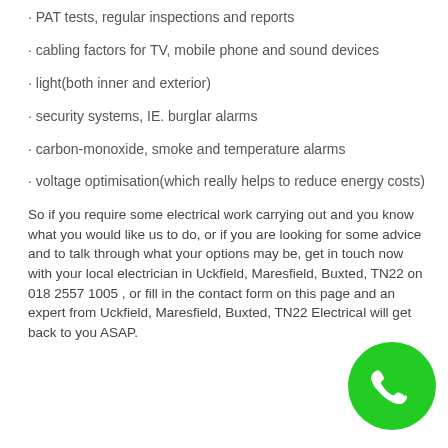· PAT tests, regular inspections and reports
· cabling factors for TV, mobile phone and sound devices
· light(both inner and exterior)
· security systems, IE. burglar alarms
· carbon-monoxide, smoke and temperature alarms
· voltage optimisation(which really helps to reduce energy costs)
So if you require some electrical work carrying out and you know what you would like us to do, or if you are looking for some advice and to talk through what your options may be, get in touch now with your local electrician in Uckfield, Maresfield, Buxted, TN22 on 018 2557 1005 , or fill in the contact form on this page and an expert from Uckfield, Maresfield, Buxted, TN22 Electrical will get back to you ASAP.
[Figure (illustration): Green circular phone icon button in bottom right corner]